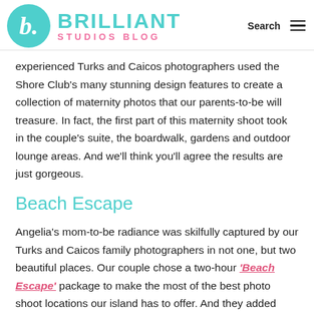Brilliant Studios Blog
experienced Turks and Caicos photographers used the Shore Club's many stunning design features to create a collection of maternity photos that our parents-to-be will treasure. In fact, the first part of this maternity shoot took in the couple's suite, the boardwalk, gardens and outdoor lounge areas. And we'll think you'll agree the results are just gorgeous.
Beach Escape
Angelia's mom-to-be radiance was skilfully captured by our Turks and Caicos family photographers in not one, but two beautiful places. Our couple chose a two-hour 'Beach Escape' package to make the most of the best photo shoot locations our island has to offer. And they added some drone shots too. We just love the drone photos of Angelia and Brandon floating in the water